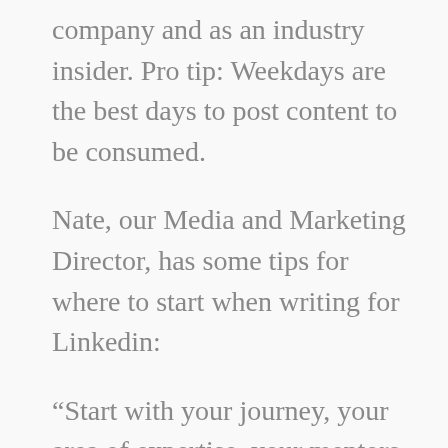company and as an industry insider. Pro tip: Weekdays are the best days to post content to be consumed.
Nate, our Media and Marketing Director, has some tips for where to start when writing for Linkedin:
“Start with your journey, your area of expertise, your mentors or your team, challenges you’ve overcome, and talk about how you did it. Be sure to tag the people and companies you mention in